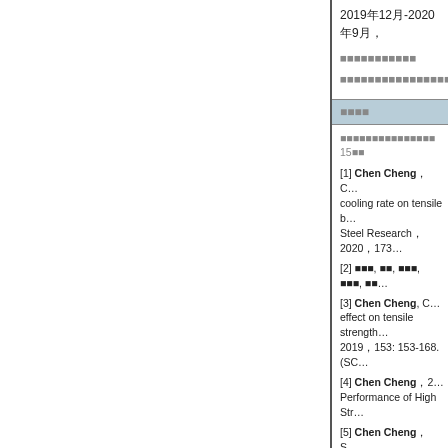2019年12月-2020年9月，
■■■■■■■■■■■■■
■■■■■■■■■■■■■■■■■■■■■■■
■■■■
■■■■■■■■■■■■■■■ 15■■
[1] Chen Cheng，C… cooling rate on tensile b… Steel Research，2020，173…
[2] ■■■, ■■, ■■■, ■■■, ■■…
[3] Chen Cheng, C… effect on tensile strength… 2019，153: 153-168. (SC…
[4] Chen Cheng，2… Performance of High Str…
[5] Chen Cheng，S… (CHS) T-joint stiffened w…